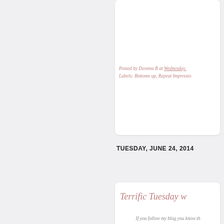Posted by Deonna B at Wednesday,
Labels: Bottoms up, Repeat Impressio
TUESDAY, JUNE 24, 2014
Terrific Tuesday w
If you follow my blog you know th
and today my card is no exception
but i still
[Figure (photo): Craft card featuring a bee or insect design with dark brown frame, yellow and brown decorative elements on cream/beige background]